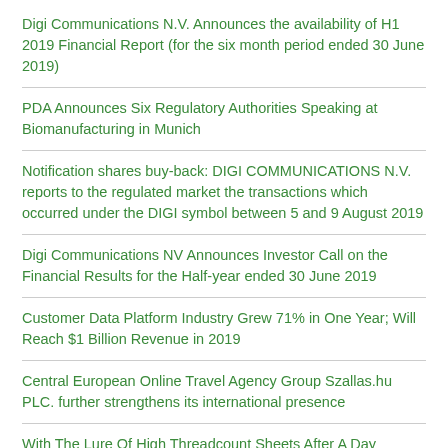Digi Communications N.V. Announces the availability of H1 2019 Financial Report (for the six month period ended 30 June 2019)
PDA Announces Six Regulatory Authorities Speaking at Biomanufacturing in Munich
Notification shares buy-back: DIGI COMMUNICATIONS N.V. reports to the regulated market the transactions which occurred under the DIGI symbol between 5 and 9 August 2019
Digi Communications NV Announces Investor Call on the Financial Results for the Half-year ended 30 June 2019
Customer Data Platform Industry Grew 71% in One Year; Will Reach $1 Billion Revenue in 2019
Central European Online Travel Agency Group Szallas.hu PLC. further strengthens its international presence
With The Lure Of High Threadcount Sheets After A Day Trekking,